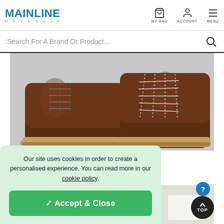MAINLINE MENSWEAR — MY BAG  ACCOUNT  MENU
Search For A Brand Or Product...
[Figure (photo): Close-up photo of two brown leather boots with laces, showing the toe and ankle area on a light background.]
AFTERCARE
ALL
HOW TO
April 13, 2020
HOW TO BREAK BOOTS IN FAST
[Figure (photo): Small thumbnail of a white or light-coloured item, partially visible at the bottom-right corner.]
Our site uses cookies in order to create a personalised experience. You can read more in our cookie policy .
✓ Accept & Close